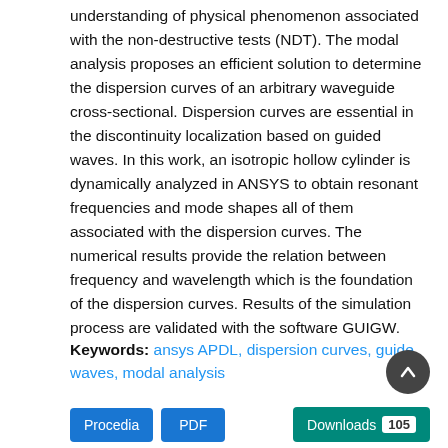understanding of physical phenomenon associated with the non-destructive tests (NDT). The modal analysis proposes an efficient solution to determine the dispersion curves of an arbitrary waveguide cross-sectional. Dispersion curves are essential in the discontinuity localization based on guided waves. In this work, an isotropic hollow cylinder is dynamically analyzed in ANSYS to obtain resonant frequencies and mode shapes all of them associated with the dispersion curves. The numerical results provide the relation between frequency and wavelength which is the foundation of the dispersion curves. Results of the simulation process are validated with the software GUIGW.
Keywords: ansys APDL, dispersion curves, guide waves, modal analysis